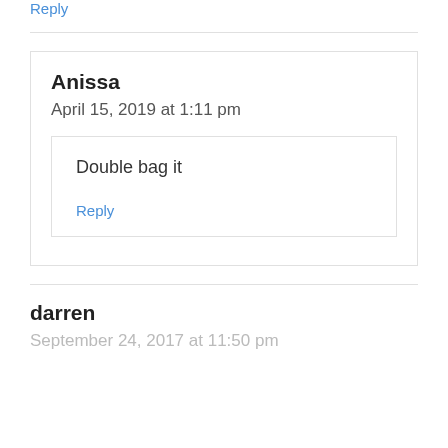Reply
Anissa
April 15, 2019 at 1:11 pm
Double bag it
Reply
darren
September 24, 2017 at 11:50 pm